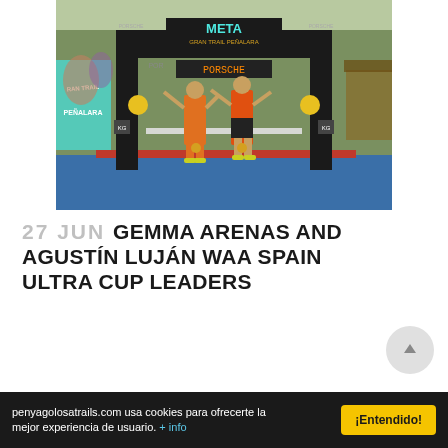[Figure (photo): Two runners celebrating at the finish line (META) of the Gran Trail Peñalara race, under a large black inflatable arch with PORSCHE sponsorship. A blue finish mat is visible. A Gran Trail Peñalara banner is on the left. Spectators and trees in background.]
27 JUN GEMMA ARENAS AND AGUSTÍN LUJÁN WAA SPAIN ULTRA CUP LEADERS
penyagolosatrails.com usa cookies para ofrecerte la mejor experiencia de usuario. + info  ¡Entendido!